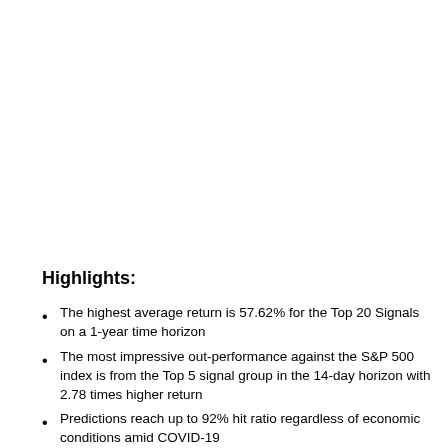Highlights:
The highest average return is 57.62% for the Top 20 Signals on a 1-year time horizon
The most impressive out-performance against the S&P 500 index is from the Top 5 signal group in the 14-day horizon with 2.78 times higher return
Predictions reach up to 92% hit ratio regardless of economic conditions amid COVID-19
Every signal group has hit ratios above 54% for all time